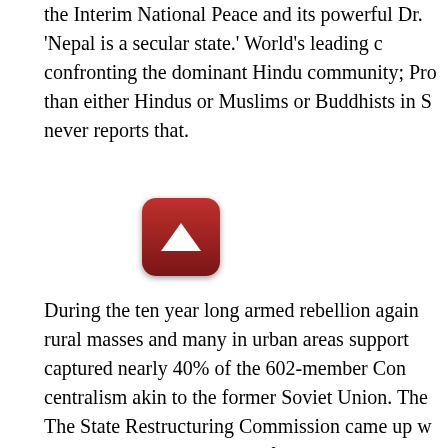the Interim National Peace and its powerful Dr. 'Nepal is a secular state.' World's leading c confronting the dominant Hindu community; Pro than either Hindus or Muslims or Buddhists in S never reports that.
[Figure (other): A red rounded-rectangle button with a white upward-pointing triangle (play/scroll-up icon) in the center.]
During the ten year long armed rebellion again rural masses and many in urban areas support captured nearly 40% of the 602-member Con centralism akin to the former Soviet Union. The The State Restructuring Commission came up w to various ethnic minorities for various reasons, ethnic-identity based territories. [2]
The main political challenge comes from the na Majority of these have come up from 1990 onwa